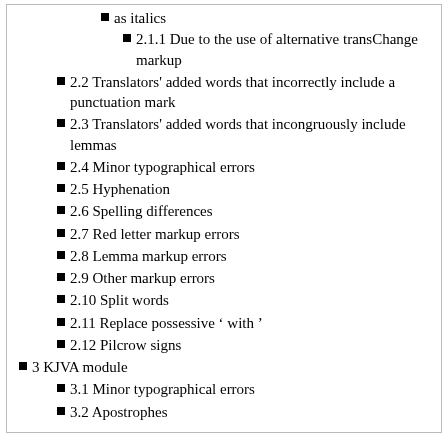as italics
2.1.1  Due to the use of alternative transChange markup
2.2  Translators' added words that incorrectly include a punctuation mark
2.3  Translators' added words that incongruously include lemmas
2.4  Minor typographical errors
2.5  Hyphenation
2.6  Spelling differences
2.7  Red letter markup errors
2.8  Lemma markup errors
2.9  Other markup errors
2.10  Split words
2.11  Replace possessive ‘ with ’
2.12  Pilcrow signs
3  KJVA module
3.1  Minor typographical errors
3.2  Apostrophes
Detection methods
The issues reported here by David Haslam were detected by a